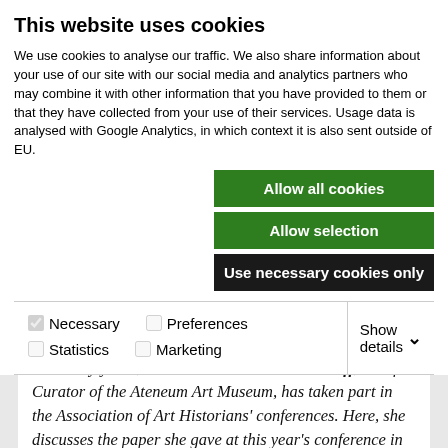This website uses cookies
We use cookies to analyse our traffic. We also share information about your use of our site with our social media and analytics partners who may combine it with other information that you have provided to them or that they have collected from your use of their services. Usage data is analysed with Google Analytics, in which context it is also sent outside of EU.
[Figure (screenshot): Three buttons: 'Allow all cookies' (green), 'Allow selection' (green), 'Use necessary cookies only' (dark/black), aligned to the right.]
[Figure (screenshot): Cookie preference checkboxes row: checked 'Necessary', unchecked 'Preferences', unchecked 'Statistics', unchecked 'Marketing', with 'Show details' and dropdown arrow on the right.]
For many years, Dr Anna-Maria von Bonsdorff, Chief Curator of the Ateneum Art Museum, has taken part in the Association of Art Historians' conferences. Here, she discusses the paper she gave at this year's conference in Norwich, in the session on Shades of